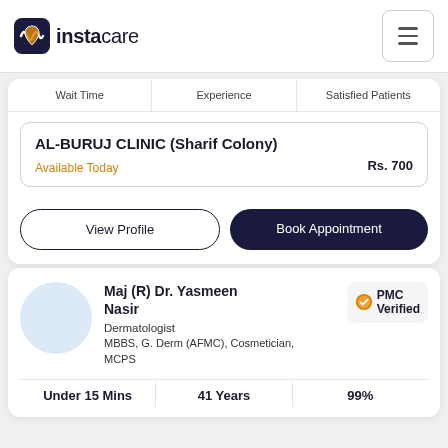[Figure (logo): Instacare logo with heartbeat icon]
| Wait Time | Experience | Satisfied Patients |
| --- | --- | --- |
AL-BURUJ CLINIC (Sharif Colony)
Available Today
Rs. 700
View Profile
Book Appointment
Maj (R) Dr. Yasmeen Nasir
PMC Verified
Dermatologist
MBBS, G. Derm (AFMC), Cosmetician, MCPS
| Under 15 Mins | 41 Years | 99% |
| --- | --- | --- |